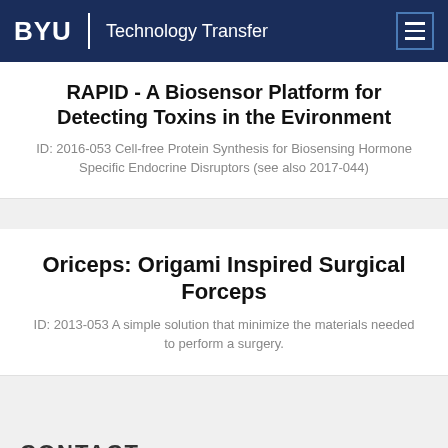BYU | Technology Transfer
RAPID - A Biosensor Platform for Detecting Toxins in the Evironment
ID: 2016-053 Cell-free Protein Synthesis for Biosensing Hormone Specific Endocrine Disruptors (see also 2017-044)
Oriceps: Origami Inspired Surgical Forceps
ID: 2013-053 A simple solution that minimize the materials needed to perform a surgery.
CONTACT